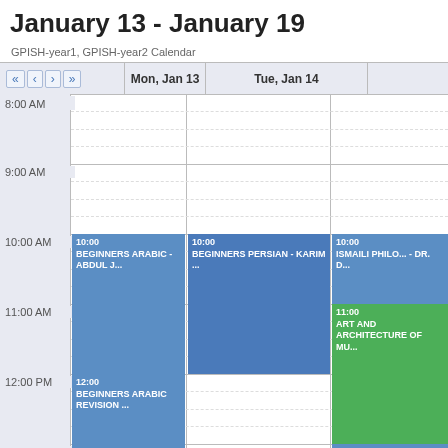January 13 - January 19
GPISH-year1, GPISH-year2 Calendar
|  | Mon, Jan 13 | Tue, Jan 14 |  |
| --- | --- | --- | --- |
| 8:00 AM |  |  |  |
| 9:00 AM |  |  |  |
| 10:00 AM | 10:00 BEGINNERS ARABIC - ABDUL J... | 10:00 BEGINNERS PERSIAN - KARIM ... | 10:00 ISMAILI PHILO... - DR. D... |
| 11:00 AM |  |  | 11:00 ART AND ARCHITECTURE OF MU... |
| 12:00 PM | 12:00 BEGINNERS ARABIC REVISION ... |  |  |
| 1:00 PM |  |  | 1:00 LITERA... AND CULTU... P... |
|  | 1:15 OFFICE HOUR - DR. GEORGE |  |  |